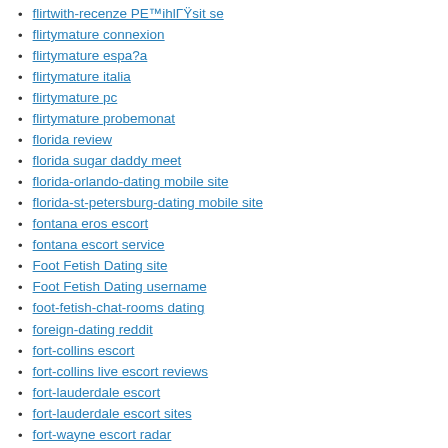flirtwith-recenze PE™ihlГŸsit se
flirtymature connexion
flirtymature espa?a
flirtymature italia
flirtymature pc
flirtymature probemonat
florida review
florida sugar daddy meet
florida-orlando-dating mobile site
florida-st-petersburg-dating mobile site
fontana eros escort
fontana escort service
Foot Fetish Dating site
Foot Fetish Dating username
foot-fetish-chat-rooms dating
foreign-dating reddit
fort-collins escort
fort-collins live escort reviews
fort-lauderdale escort
fort-lauderdale escort sites
fort-wayne escort radar
fort-worth live escort reviews
france-dating dating
france-dating reviews
france-deaf-dating app
france-deaf-dating review
france-elite-dating dating
france-farmers-dating dating